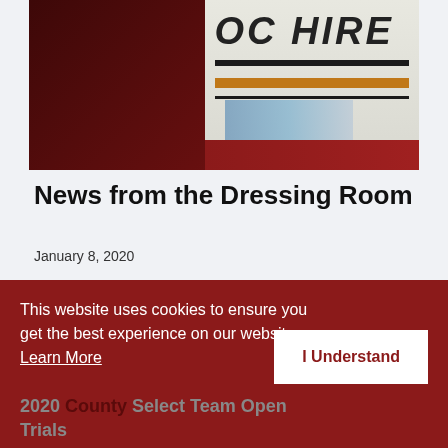[Figure (photo): Top portion of a sports image showing a jersey with 'OC HIRE' text visible, dark maroon background on the left and light colored jersey on the right]
News from the Dressing Room
January 8, 2020
[Figure (other): Media placeholder / embedded video placeholder with grey background and loading lines]
This website uses cookies to ensure you get the best experience on our website. Learn More
I Understand
2020 County Select Team Open Trials